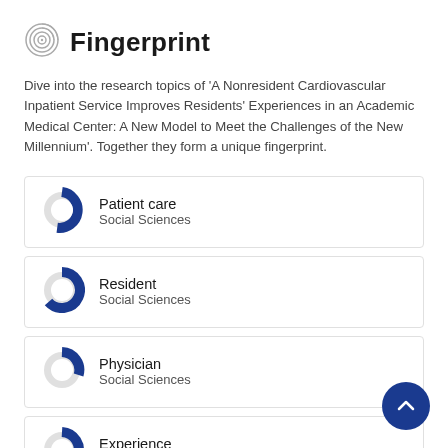Fingerprint
Dive into the research topics of 'A Nonresident Cardiovascular Inpatient Service Improves Residents' Experiences in an Academic Medical Center: A New Model to Meet the Challenges of the New Millennium'. Together they form a unique fingerprint.
Patient care
Social Sciences
Resident
Social Sciences
Physician
Social Sciences
Experience
Social Sciences